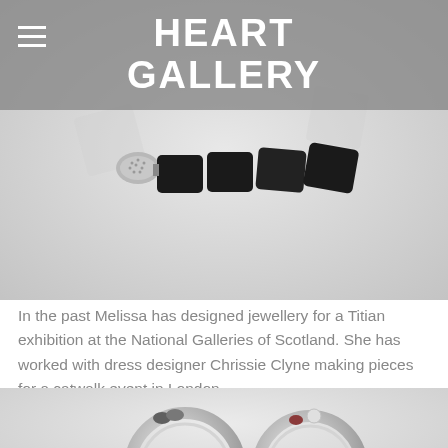HEART GALLERY
[Figure (photo): Close-up photo of a jewellery necklace with black geometric square beads and a textured silver cone element, on a light grey background]
In the past Melissa has designed jewellery for a Titian exhibition at the National Galleries of Scotland. She has worked with dress designer Chrissie Clyne making pieces for a catwalk event in London.
[Figure (photo): Close-up photo of silver hoop earrings with small decorative beads including dark and red/clear stones, on a light background]